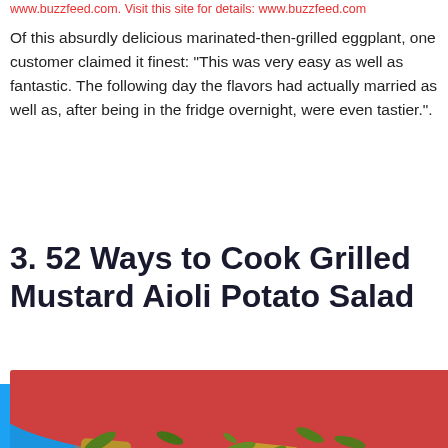www.buzzfeed.com. Visit this site for details: www.buzzfeed.com
Of this absurdly delicious marinated-then-grilled eggplant, one customer claimed it finest: “This was very easy as well as fantastic. The following day the flavors had actually married as well as, after being in the fridge overnight, were even tastier.”.
3. 52 Ways to Cook Grilled Mustard Aioli Potato Salad
[Figure (photo): A red bowl filled with grilled potato salad topped with chopped green herbs, viewed from above and slightly to the side.]
[Figure (infographic): Social sharing bar with buttons for Twitter (blue bird icon), Facebook (grey f icon), Email (grey envelope icon), WhatsApp (green phone icon), Pinterest (red P icon with count 3), and More (grey circle arrow icon).]